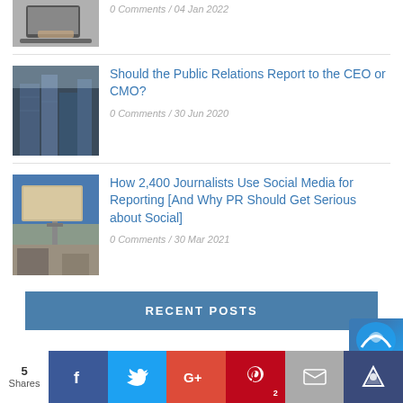[Figure (photo): Partial view: person typing on laptop keyboard]
0 Comments / 04 Jan 2022
Should the Public Relations Report to the CEO or CMO?
[Figure (photo): Looking up at tall glass skyscrapers from below]
0 Comments / 30 Jun 2020
How 2,400 Journalists Use Social Media for Reporting [And Why PR Should Get Serious about Social]
[Figure (photo): A billboard in a desert landscape with old building]
0 Comments / 30 Mar 2021
RECENT POSTS
5 Shares